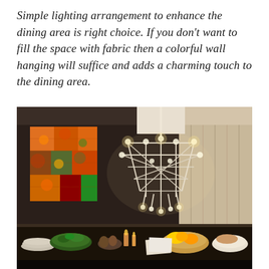Simple lighting arrangement to enhance the dining area is right choice. If you don't want to fill the space with fabric then a colorful wall hanging will suffice and adds a charming touch to the dining area.
[Figure (photo): A dining room scene with a modern geometric chandelier made of white rods with glowing bulb tips hanging from the ceiling. On the left wall hangs a colorful textile/tapestry with orange, green, and multicolored patterns. The dining table below is set with dishes, bowls of food, greenery, candles, and decorative items. A beige curtain is visible on the right side. The room has dark walls and warm lighting.]